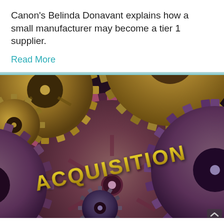Canon's Belinda Donavant explains how a small manufacturer may become a tier 1 supplier.
Read More
[Figure (illustration): Illustration of interlocking mechanical gears in bronze/gold and dark purple/maroon tones, with the word ACQUISITION emblazoned in gold/yellow 3D letters on the large central gear.]